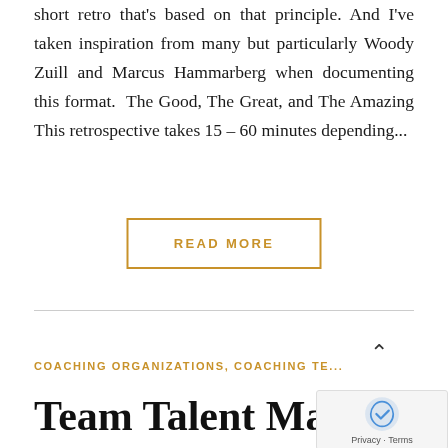short retro that's based on that principle. And I've taken inspiration from many but particularly Woody Zuill and Marcus Hammarberg when documenting this format.  The Good, The Great, and The Amazing This retrospective takes 15 – 60 minutes depending...
READ MORE
COACHING ORGANIZATIONS, COACHING TE...
Team Talent Management...